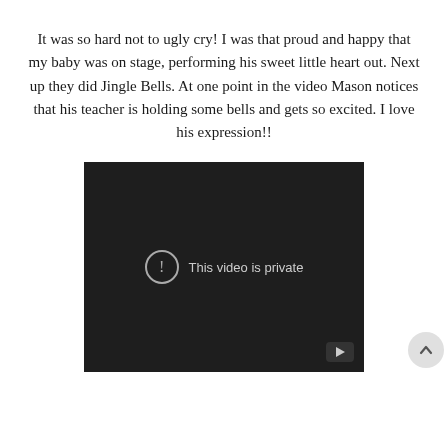It was so hard not to ugly cry! I was that proud and happy that my baby was on stage, performing his sweet little heart out. Next up they did Jingle Bells. At one point in the video Mason notices that his teacher is holding some bells and gets so excited. I love his expression!!
[Figure (screenshot): Embedded video player showing 'This video is private' message on a dark background, with a play button icon in the bottom right corner.]